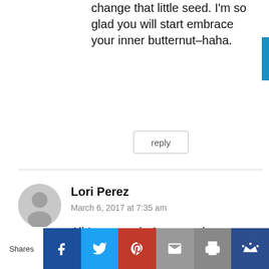change that little seed. I'm so glad you will start embrace your inner butternut–haha.
reply
Lori Perez
March 6, 2017 at 7:35 am
All I can say is Amen and excellent.
reply
[Figure (infographic): Social share bar with buttons for Facebook, Twitter, Pinterest, Email, Print, and a crown icon. Left label reads 'Shares'.]